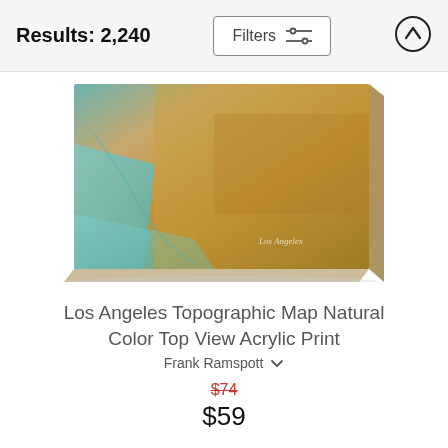Results: 2,240
[Figure (screenshot): Filters button with sliders icon]
[Figure (screenshot): Up arrow in circle button]
[Figure (photo): Los Angeles topographic map canvas print with golden-brown terrain and teal ocean, shown as a mounted canvas with slight perspective angle]
Los Angeles Topographic Map Natural Color Top View Acrylic Print
Frank Ramspott
$74
$59
[Figure (photo): Partial view of another product at the bottom of the page, dark background art print on canvas]